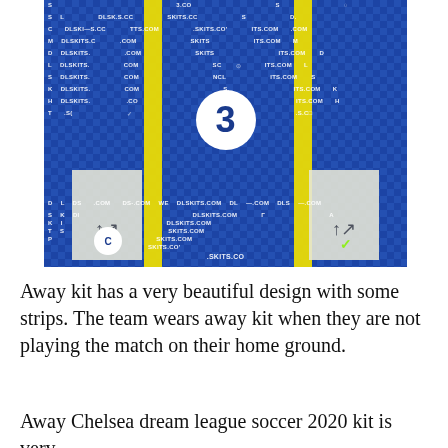[Figure (photo): Chelsea FC away kit 2020 - blue and yellow striped football kit laid flat, showing front and back panels with DLSKITS.COM watermarks across the blue checkered background, Three mobile sponsor logo on front]
Away kit has a very beautiful design with some strips. The team wears away kit when they are not playing the match on their home ground.
Away Chelsea dream league soccer 2020 kit is very